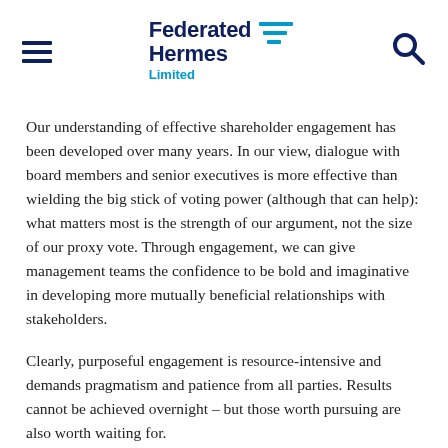[Figure (logo): Federated Hermes Limited logo with hamburger menu icon on left and search icon on right]
Our understanding of effective shareholder engagement has been developed over many years. In our view, dialogue with board members and senior executives is more effective than wielding the big stick of voting power (although that can help): what matters most is the strength of our argument, not the size of our proxy vote. Through engagement, we can give management teams the confidence to be bold and imaginative in developing more mutually beneficial relationships with stakeholders.
Clearly, purposeful engagement is resource-intensive and demands pragmatism and patience from all parties. Results cannot be achieved overnight – but those worth pursuing are also worth waiting for.